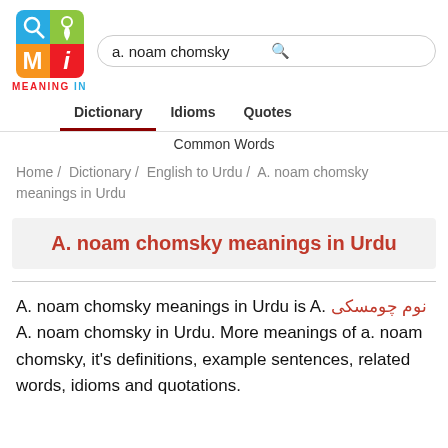[Figure (logo): Meaning In app logo — 2x2 grid with magnifying glass, headphone/pin, M, and i icons in blue, green, orange, red squares]
a. noam chomsky
Dictionary   Idioms   Quotes
Common Words
Home / Dictionary / English to Urdu / A. noam chomsky meanings in Urdu
A. noam chomsky meanings in Urdu
A. noam chomsky meanings in Urdu is A. نوم چومسکی A. noam chomsky in Urdu. More meanings of a. noam chomsky, it's definitions, example sentences, related words, idioms and quotations.